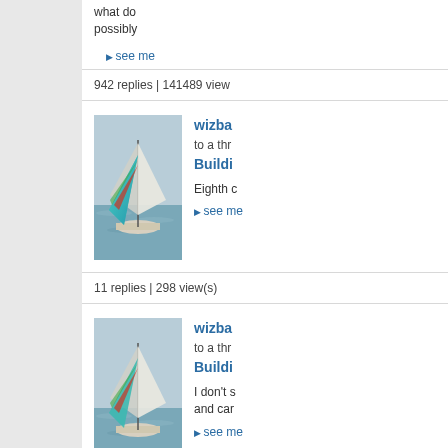what do possibly
▸ see me
942 replies | 141489 view
[Figure (photo): Sailboat on ocean with colorful sail]
wizba to a thr Buildi Eighth c ▸ see me 11 replies | 298 view(s)
[Figure (photo): Sailboat on ocean with colorful sail]
wizba to a thr Buildi I don't s and car ▸ see me 11 replies | 298 view(s)
[Figure (photo): Sailboat on ocean with colorful sail]
wizba to a thr Today